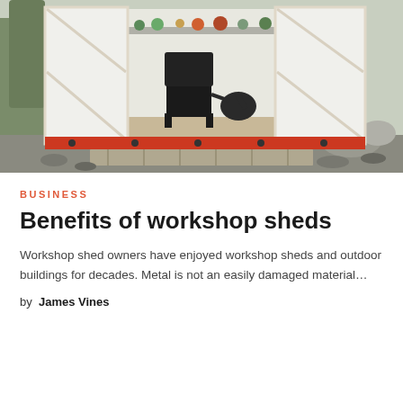[Figure (photo): A white workshop shed with open double doors revealing interior with a black chair, watering can, and shelves with pots and plants. The shed sits on a red base/skids over gravel, with trees visible on the left.]
BUSINESS
Benefits of workshop sheds
Workshop shed owners have enjoyed workshop sheds and outdoor buildings for decades. Metal is not an easily damaged material…
by James Vines